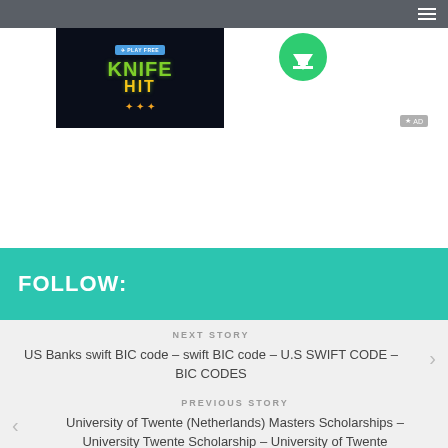[Figure (screenshot): Knife Hit game advertisement banner with dark blue background, 'PLAY FREE' button, and green/yellow 'KNIFE HIT' game title text]
[Figure (logo): Green circular download icon with white downward arrow]
FOLLOW:
NEXT STORY
US Banks swift BIC code – swift BIC code – U.S SWIFT CODE – BIC CODES
PREVIOUS STORY
University of Twente (Netherlands) Masters Scholarships – University Twente Scholarship – University of Twente